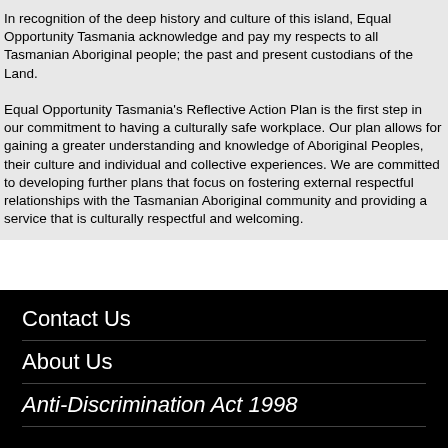In recognition of the deep history and culture of this island, Equal Opportunity Tasmania acknowledge and pay my respects to all Tasmanian Aboriginal people; the past and present custodians of the Land.
Equal Opportunity Tasmania's Reflective Action Plan is the first step in our commitment to having a culturally safe workplace. Our plan allows for gaining a greater understanding and knowledge of Aboriginal Peoples, their culture and individual and collective experiences. We are committed to developing further plans that focus on fostering external respectful relationships with the Tasmanian Aboriginal community and providing a service that is culturally respectful and welcoming.
Contact Us
About Us
Anti-Discrimination Act 1998
Department of Justice